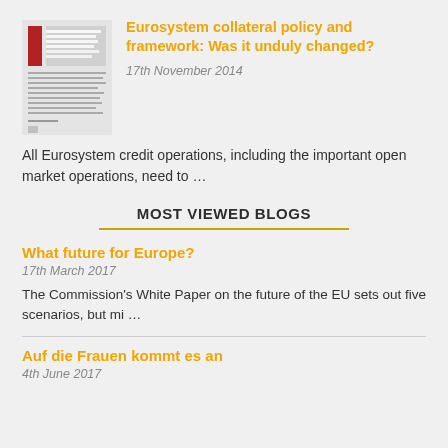[Figure (illustration): Thumbnail image of a document/book cover with red and grey design, showing text about Eurosystem collateral policy and framework]
Eurosystem collateral policy and framework: Was it unduly changed?
17th November 2014
All Eurosystem credit operations, including the important open market operations, need to …
MOST VIEWED BLOGS
What future for Europe?
17th March 2017
The Commission's White Paper on the future of the EU sets out five scenarios, but mi …
Auf die Frauen kommt es an
4th June 2017